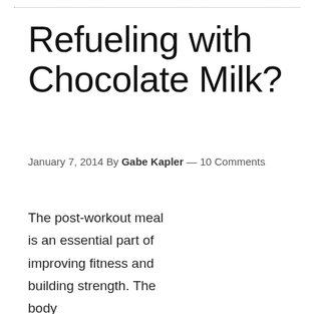Refueling with Chocolate Milk?
January 7, 2014 By Gabe Kapler — 10 Comments
The post-workout meal is an essential part of improving fitness and building strength. The body